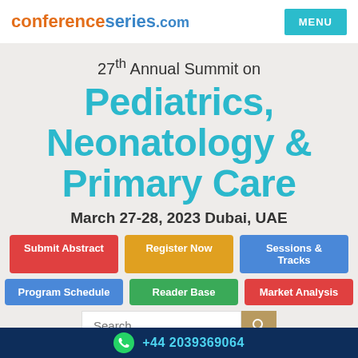conferenceseries.com
27th Annual Summit on Pediatrics, Neonatology & Primary Care
March 27-28, 2023 Dubai, UAE
Submit Abstract
Register Now
Sessions & Tracks
Program Schedule
Reader Base
Market Analysis
+44 2039369064